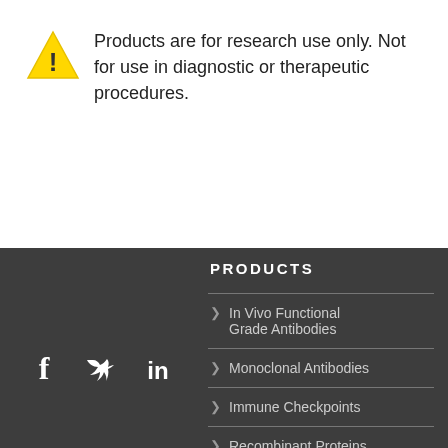⚠ Products are for research use only. Not for use in diagnostic or therapeutic procedures.
[Figure (infographic): Social media icons: Facebook (f), Twitter (bird), LinkedIn (in) in white on dark background]
PRODUCTS
> In Vivo Functional Grade Antibodies
> Monoclonal Antibodies
> Immune Checkpoints
> Recombinant Proteins
> Isotype Control